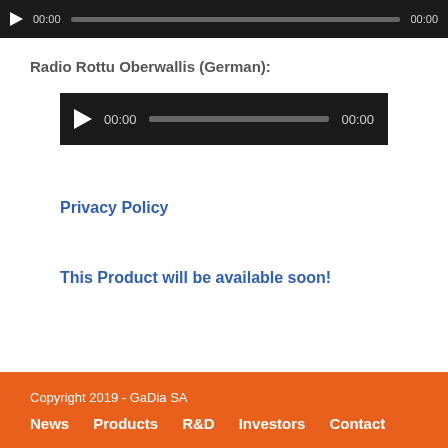[Figure (other): Audio player control bar (top) with play button, time display 00:00, progress bar, and end time 00:00 on dark background]
Radio Rottu Oberwallis (German):
[Figure (other): Audio player control bar with play button, time display 00:00, progress bar, and end time 00:00 on dark background]
Privacy Policy
This Product will be available soon!
Copyright 2019 - GaDia SA
News   Products   R&D   Investors   Contact